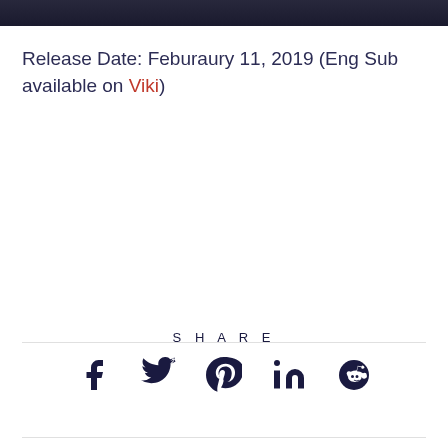[Figure (photo): Dark cinematic image at the top of the page, partially cropped]
Release Date: Feburaury 11, 2019 (Eng Sub available on Viki)
SHARE
[Figure (other): Social sharing icons: Facebook, Twitter, Pinterest, LinkedIn, Reddit]